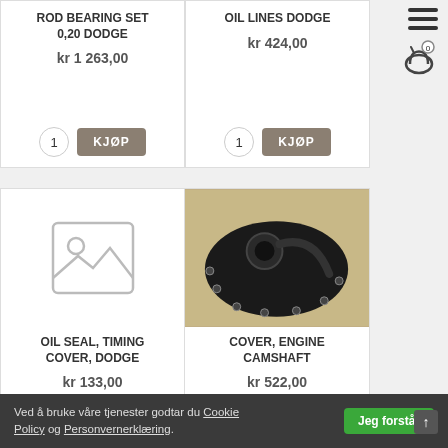ROD BEARING SET 0,20 DODGE
kr 1 263,00
1 KJØP
OIL LINES DODGE
kr 424,00
1 KJØP
[Figure (photo): Placeholder image icon for OIL SEAL, TIMING COVER, DODGE]
OIL SEAL, TIMING COVER, DODGE
kr 133,00
[Figure (photo): Photo of a black engine camshaft cover — oval-shaped dark rubber/plastic cover with a central opening and bolt holes around edge, on yellowish background]
COVER, ENGINE CAMSHAFT
kr 522,00
Ved å bruke våre tjenester godtar du Cookie Policy og Personvernerklæring.
Jeg forstår